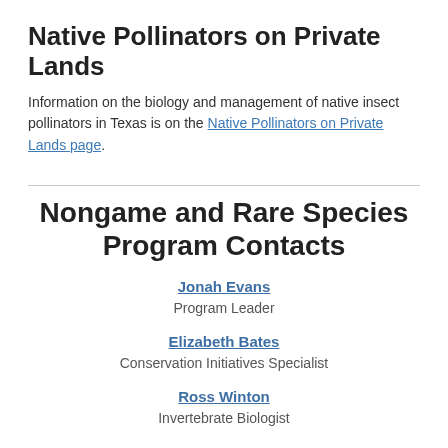Native Pollinators on Private Lands
Information on the biology and management of native insect pollinators in Texas is on the Native Pollinators on Private Lands page.
Nongame and Rare Species Program Contacts
Jonah Evans
Program Leader
Elizabeth Bates
Conservation Initiatives Specialist
Ross Winton
Invertebrate Biologist